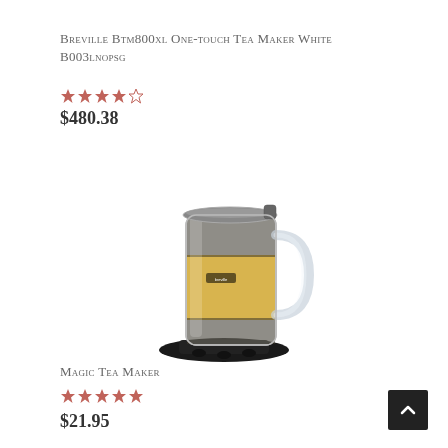Breville Btm800xl One-touch Tea Maker White B003lnopsg
★★★★☆
$480.38
[Figure (photo): A glass tea maker mug with golden tea and tea leaves visible, sitting on a black circular base/warmer. The glass has a lid and a handle, with a small label on the side.]
Magic Tea Maker
★★★★★
$21.95